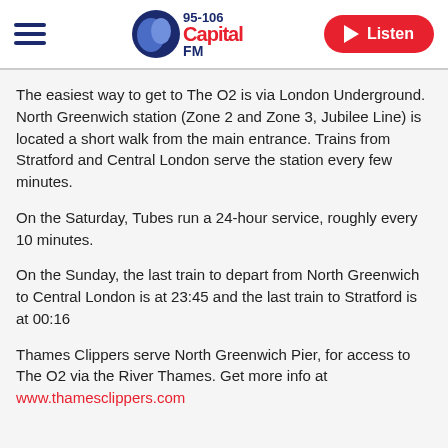95-106 Capital FM — Listen
The easiest way to get to The O2 is via London Underground. North Greenwich station (Zone 2 and Zone 3, Jubilee Line) is located a short walk from the main entrance. Trains from Stratford and Central London serve the station every few minutes.
On the Saturday, Tubes run a 24-hour service, roughly every 10 minutes.
On the Sunday, the last train to depart from North Greenwich to Central London is at 23:45 and the last train to Stratford is at 00:16
Thames Clippers serve North Greenwich Pier, for access to The O2 via the River Thames. Get more info at www.thamesclippers.com